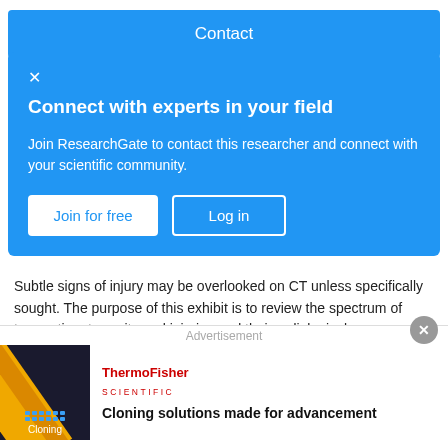Contact
Connect with experts in your field
Join ResearchGate to contact this researcher and connect with your scientific community.
Join for free   Log in
Subtle signs of injury may be overlooked on CT unless specifically sought. The purpose of this exhibit is to review the spectrum of traumatic retroperitoneal injuries and their radiological appearance. CONTENT ORGANIZATION Exampl...
View
Advertisement
[Figure (logo): ThermoFisher Scientific logo in red text]
Cloning solutions made for advancement